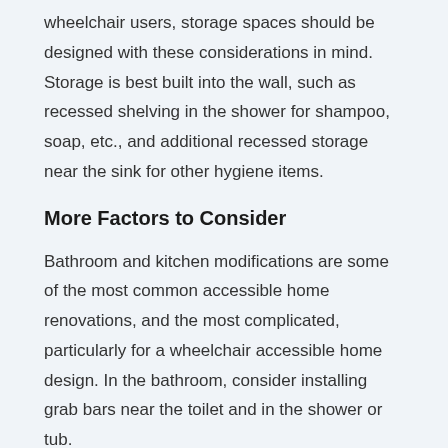wheelchair users, storage spaces should be designed with these considerations in mind. Storage is best built into the wall, such as recessed shelving in the shower for shampoo, soap, etc., and additional recessed storage near the sink for other hygiene items.
More Factors to Consider
Bathroom and kitchen modifications are some of the most common accessible home renovations, and the most complicated, particularly for a wheelchair accessible home design. In the bathroom, consider installing grab bars near the toilet and in the shower or tub.
You'll also want to consider these factors when